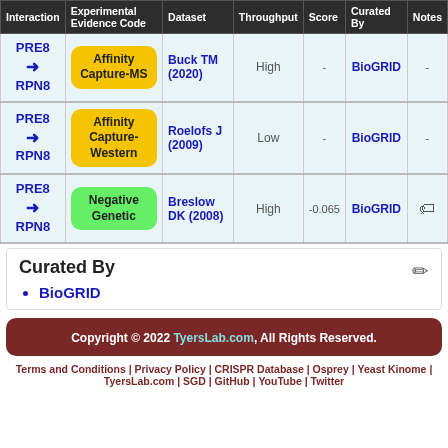| Interaction | Experimental Evidence Code | Dataset | Throughput | Score | Curated By | Notes |
| --- | --- | --- | --- | --- | --- | --- |
| PRE8 → RPN8 | Affinity Capture-MS | Buck TM (2020) | High | - | BioGRID | - |
| PRE8 → RPN8 | Affinity Capture-Western | Roelofs J (2009) | Low | - | BioGRID | - |
| PRE8 → RPN8 | Negative Genetic | Breslow DK (2008) | High | -0.065 | BioGRID | [tag] |
Curated By
BioGRID
Copyright © 2022 TyersLab.com, All Rights Reserved. | Terms and Conditions | Privacy Policy | CRISPR Database | Osprey | Yeast Kinome | TyersLab.com | SGD | GitHub | YouTube | Twitter